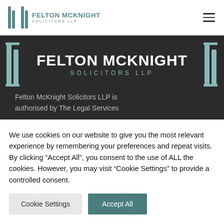[Figure (logo): Felton McKnight Solicitors LLP logo with two pillar icons and text, small version in top navigation header]
[Figure (logo): Felton McKnight Solicitors LLP large white logo on dark background with decorative columns on either side]
Felton McKnight Solicitors LLP is authorised by The Legal Services
We use cookies on our website to give you the most relevant experience by remembering your preferences and repeat visits. By clicking “Accept All”, you consent to the use of ALL the cookies. However, you may visit “Cookie Settings” to provide a controlled consent.
Cookie Settings
Accept All